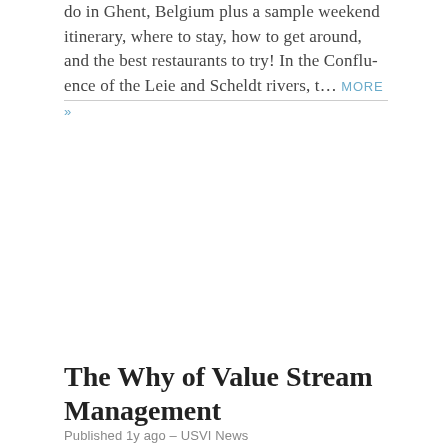do in Ghent, Belgium plus a sample weekend itinerary, where to stay, how to get around, and the best restaurants to try! In the Confluence of the Leie and Scheldt rivers, t… MORE »
The Why of Value Stream Management
Published 1y ago – USVI News